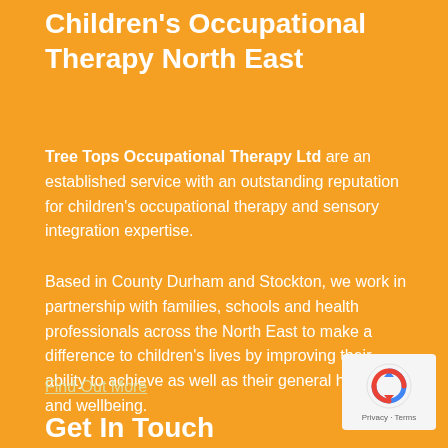Children's Occupational Therapy North East
Tree Tops Occupational Therapy Ltd are an established service with an outstanding reputation for children's occupational therapy and sensory integration expertise.
Based in County Durham and Stockton, we work in partnership with families, schools and health professionals across the North East to make a difference to children's lives by improving their ability to achieve as well as their general happiness and wellbeing.
Find Out More
Get In Touch
[Figure (logo): reCAPTCHA badge with rotating arrow icon and Privacy - Terms text]